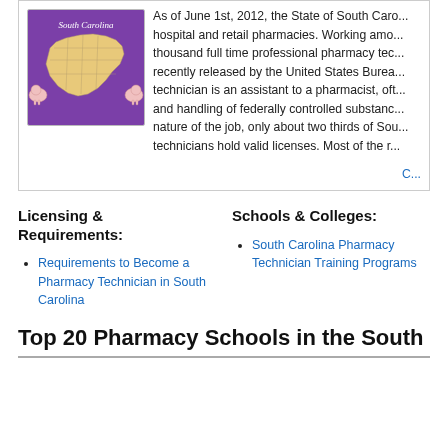[Figure (illustration): Map of South Carolina counties on a purple background with the text 'South Carolina' in cursive, with decorative piggy bank figures on left and right sides.]
As of June 1st, 2012, the State of South Carolina... hospital and retail pharmacies. Working among thousand full time professional pharmacy tec... recently released by the United States Burea... technician is an assistant to a pharmacist, oft... and handling of federally controlled substance... nature of the job, only about two thirds of Sou... technicians hold valid licenses. Most of the r...
Licensing & Requirements:
Requirements to Become a Pharmacy Technician in South Carolina
Schools & Colleges:
South Carolina Pharmacy Technician Training Programs
Top 20 Pharmacy Schools in the South